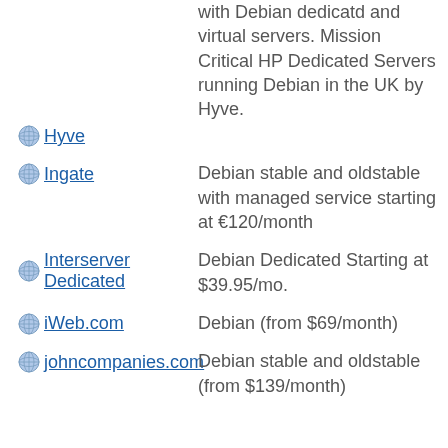with Debian dedicatd and virtual servers. Mission Critical HP Dedicated Servers running Debian in the UK by Hyve.
Hyve — Mission Critical HP Dedicated Servers running Debian in the UK by Hyve.
Ingate — Debian stable and oldstable with managed service starting at €120/month
Interserver Dedicated — Debian Dedicated Starting at $39.95/mo.
iWeb.com — Debian (from $69/month)
johncompanies.com — Debian stable and oldstable (from $139/month)